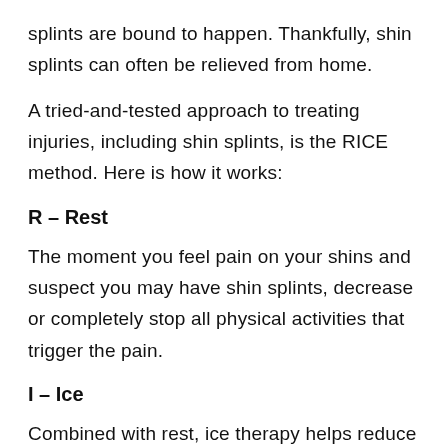splints are bound to happen. Thankfully, shin splints can often be relieved from home.
A tried-and-tested approach to treating injuries, including shin splints, is the RICE method. Here is how it works:
R – Rest
The moment you feel pain on your shins and suspect you may have shin splints, decrease or completely stop all physical activities that trigger the pain.
I – Ice
Combined with rest, ice therapy helps reduce